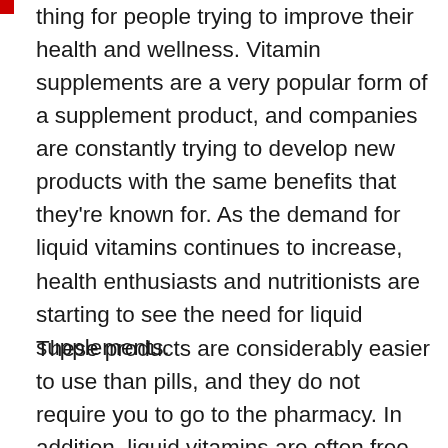thing for people trying to improve their health and wellness. Vitamin supplements are a very popular form of a supplement product, and companies are constantly trying to develop new products with the same benefits that they're known for. As the demand for liquid vitamins continues to increase, health enthusiasts and nutritionists are starting to see the need for liquid supplements.
These products are considerably easier to use than pills, and they do not require you to go to the pharmacy. In addition, liquid vitamins are often free, or cheap, and they're often easy to find at local health food stores or online. In the past decade, several new vitamin supplements have been launched for both health-conscious people